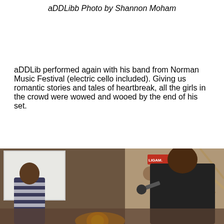aDDLibb Photo by Shannon Moham
aDDLib performed again with his band from Norman Music Festival (electric cello included). Giving us romantic stories and tales of heartbreak, all the girls in the crowd were wowed and wooed by the end of his set.
[Figure (photo): Indoor venue photo showing two performers on stage; left person in striped shirt, right person in dark shirt holding a microphone. Background shows a projection screen on the left, warm ambient lighting, and decorative wall art.]